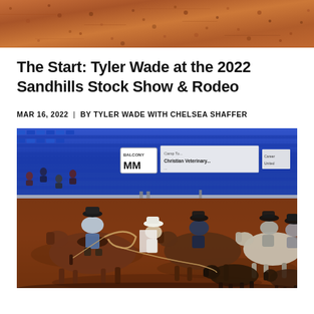[Figure (photo): Top portion of a rodeo arena dirt floor showing reddish-brown sandy ground texture, cropped tight.]
The Start: Tyler Wade at the 2022 Sandhills Stock Show & Rodeo
MAR 16, 2022  |  BY TYLER WADE WITH CHELSEA SHAFFER
[Figure (photo): Indoor rodeo arena scene at the 2022 Sandhills Stock Show & Rodeo. Cowboys on horseback are roping cattle in the arena. Blue stadium seats are visible in the background along with a 'Balcony MM' sign and a banner reading 'Christian Veterinary...' Crowd of spectators visible in the stands. Dirt arena floor. Multiple riders including ropers working with cattle.]